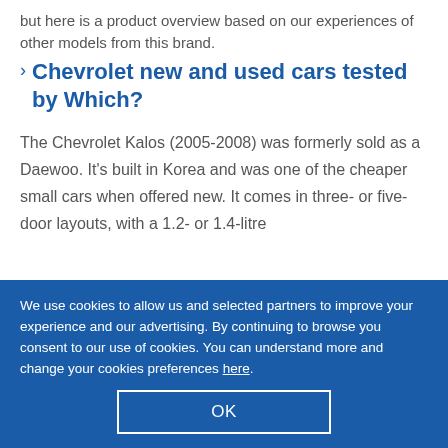but here is a product overview based on our experiences of other models from this brand.
Chevrolet new and used cars tested by Which?
The Chevrolet Kalos (2005-2008) was formerly sold as a Daewoo. It's built in Korea and was one of the cheaper small cars when offered new. It comes in three- or five-door layouts, with a 1.2- or 1.4-litre
We use cookies to allow us and selected partners to improve your experience and our advertising. By continuing to browse you consent to our use of cookies. You can understand more and change your cookies preferences here.